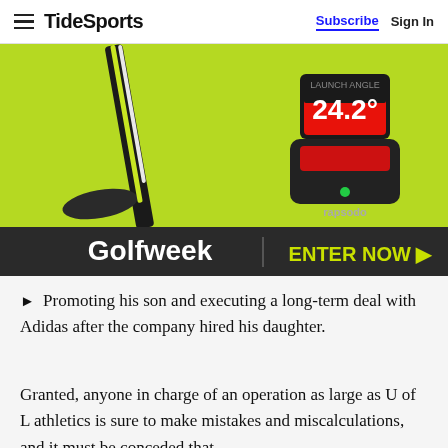TideSports | Subscribe  Sign In
[Figure (photo): Golf equipment photo showing a golf club and a Rapsodo launch monitor device displaying 24.2 degrees on a bright green background, with a dark banner overlay showing 'Golfweek' and 'ENTER NOW ▶']
► Promoting his son and executing a long-term deal with Adidas after the company hired his daughter.
Granted, anyone in charge of an operation as large as U of L athletics is sure to make mistakes and miscalculations, and it must be conceded that